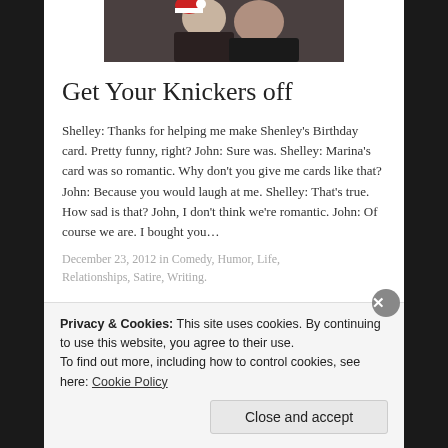[Figure (photo): A cropped photo of two people, partially visible at the top of the page]
Get Your Knickers off
Shelley: Thanks for helping me make Shenley’s Birthday card. Pretty funny, right? John: Sure was. Shelley: Marina’s card was so romantic. Why don’t you give me cards like that? John: Because you would laugh at me. Shelley: That’s true. How sad is that? John, I don’t think we’re romantic. John: Of course we are. I bought you…
December 23, 2012 in Comedy, Humor, Life, Relationships, Satire, Writing.
Privacy & Cookies: This site uses cookies. By continuing to use this website, you agree to their use.
To find out more, including how to control cookies, see here: Cookie Policy
Close and accept